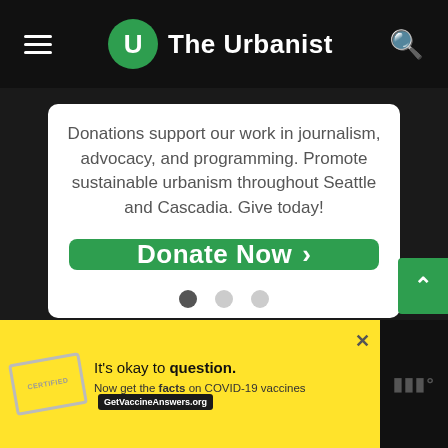The Urbanist
Donations support our work in journalism, advocacy, and programming. Promote sustainable urbanism throughout Seattle and Cascadia. Give today!
[Figure (other): Green 'Donate Now >' button]
[Figure (other): Carousel pagination dots: one filled (active), two empty]
Secure Donation
[Figure (other): Scroll-to-top green button with upward chevron]
[Figure (other): Yellow advertisement banner: 'It's okay to question. Now get the facts on COVID-19 vaccines GetVaccineAnswers.org' with a stamp graphic and close button]